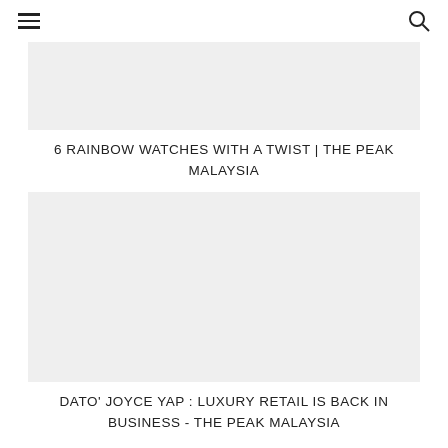≡  🔍
[Figure (photo): Gray placeholder image for article about rainbow watches]
6 RAINBOW WATCHES WITH A TWIST | THE PEAK MALAYSIA
[Figure (photo): Gray placeholder image for article about Dato' Joyce Yap luxury retail]
DATO' JOYCE YAP : LUXURY RETAIL IS BACK IN BUSINESS - THE PEAK MALAYSIA